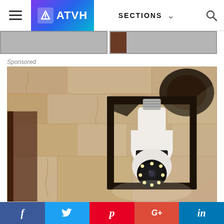ATVH — SECTIONS navigation bar
[Figure (screenshot): Partial cropped thumbnail images of two articles, shown as grey image strips below the navigation bar]
Sponsored
[Figure (photo): A smart security camera bulb installed inside a black outdoor lantern wall light fixture, mounted on a textured stone wall. The bulb-shaped camera is white with a circular lens array at the bottom.]
f  (Twitter bird)  p  G+  in — social sharing bar